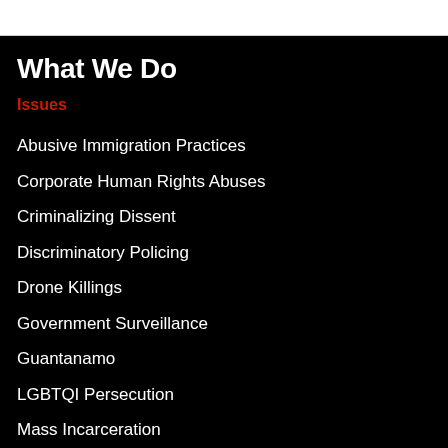What We Do
Issues
Abusive Immigration Practices
Corporate Human Rights Abuses
Criminalizing Dissent
Discriminatory Policing
Drone Killings
Government Surveillance
Guantanamo
LGBTQI Persecution
Mass Incarceration
Muslim Profiling
Palestinian Solidarity